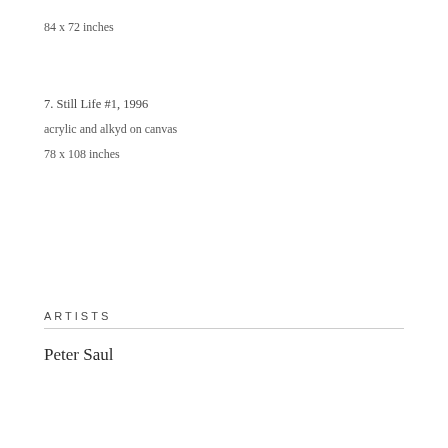84 x 72 inches
7. Still Life #1, 1996
acrylic and alkyd on canvas
78 x 108 inches
ARTISTS
Peter Saul